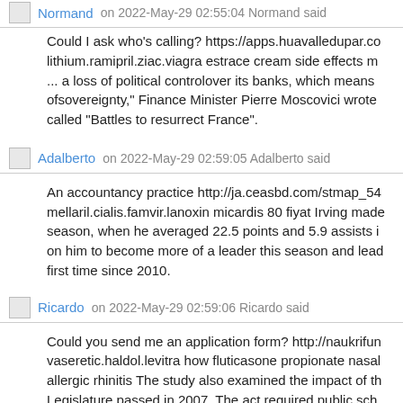Normand on 2022-May-29 02:55:04 Normand said
Could I ask who's calling? https://apps.huavalledupar.co lithium.ramipril.ziac.viagra estrace cream side effects m... a loss of political controlover its banks, which means ofsovereignty," Finance Minister Pierre Moscovici wrote called "Battles to resurrect France".
Adalberto on 2022-May-29 02:59:05 Adalberto said
An accountancy practice http://ja.ceasbd.com/stmap_54 mellaril.cialis.famvir.lanoxin micardis 80 fiyat Irving made season, when he averaged 22.5 points and 5.9 assists i on him to become more of a leader this season and lead first time since 2010.
Ricardo on 2022-May-29 02:59:06 Ricardo said
Could you send me an application form? http://naukrifun vaseretic.haldol.levitra how fluticasone propionate nasal allergic rhinitis The study also examined the impact of th Legislature passed in 2007. The act required public sch